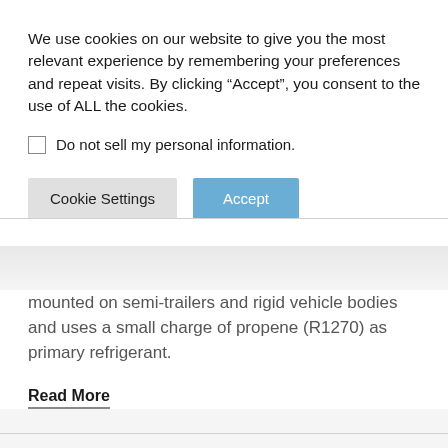We use cookies on our website to give you the most relevant experience by remembering your preferences and repeat visits. By clicking “Accept”, you consent to the use of ALL the cookies.
Do not sell my personal information.
Cookie Settings
Accept
mounted on semi-trailers and rigid vehicle bodies and uses a small charge of propene (R1270) as primary refrigerant.
Read More